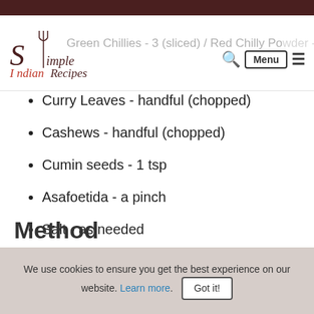Simple Indian Recipes
Green Chillies - 3 (sliced) / Red Chilly Powder - 1
Curry Leaves - handful (chopped)
Cashews - handful (chopped)
Cumin seeds - 1 tsp
Asafoetida - a pinch
Salt - as needed
Oil - for deep frying
Method
We use cookies to ensure you get the best experience on our website. Learn more. Got it!